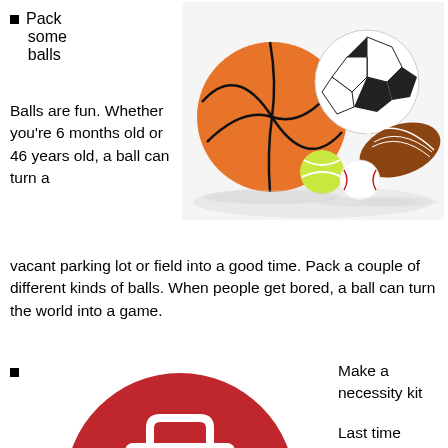Pack some balls
[Figure (photo): Group of sports balls: basketball, soccer ball, football, tennis ball, and baseball arranged together with reflections on a white surface.]
Balls are fun. Whether you're 6 months old or 46 years old, a ball can turn a vacant parking lot or field into a good time. Pack a couple of different kinds of balls. When people get bored, a ball can turn the world into a game.
Make a necessity kit
[Figure (illustration): Red semicircle with white first-aid kit icon in the center, partially cropped at bottom of page.]
Last time